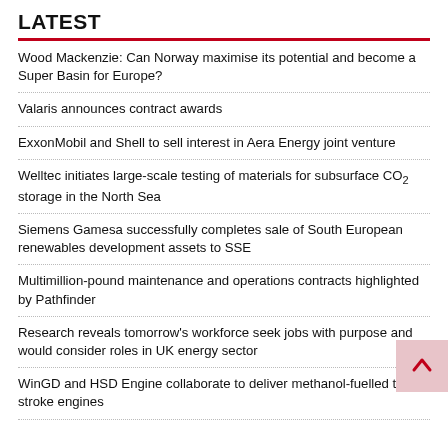LATEST
Wood Mackenzie: Can Norway maximise its potential and become a Super Basin for Europe?
Valaris announces contract awards
ExxonMobil and Shell to sell interest in Aera Energy joint venture
Welltec initiates large-scale testing of materials for subsurface CO₂ storage in the North Sea
Siemens Gamesa successfully completes sale of South European renewables development assets to SSE
Multimillion-pound maintenance and operations contracts highlighted by Pathfinder
Research reveals tomorrow's workforce seek jobs with purpose and would consider roles in UK energy sector
WinGD and HSD Engine collaborate to deliver methanol-fuelled two-stroke engines